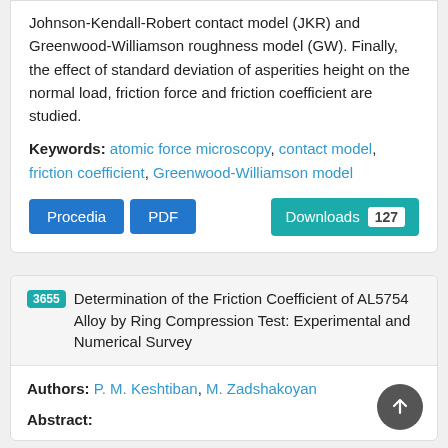Johnson-Kendall-Robert contact model (JKR) and Greenwood-Williamson roughness model (GW). Finally, the effect of standard deviation of asperities height on the normal load, friction force and friction coefficient are studied.
Keywords: atomic force microscopy, contact model, friction coefficient, Greenwood-Williamson model
Procedia  PDF  Downloads 127
3655 Determination of the Friction Coefficient of AL5754 Alloy by Ring Compression Test: Experimental and Numerical Survey
Authors: P. M. Keshtiban, M. Zadshakoyan
Abstract: